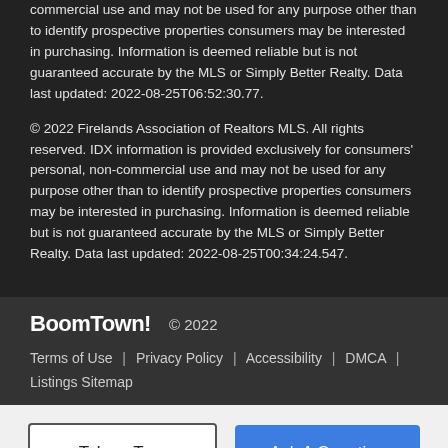commercial use and may not be used for any purpose other than to identify prospective properties consumers may be interested in purchasing. Information is deemed reliable but is not guaranteed accurate by the MLS or Simply Better Realty. Data last updated: 2022-08-25T06:52:30.77.
© 2022 Firelands Association of Realtors MLS. All rights reserved. IDX information is provided exclusively for consumers' personal, non-commercial use and may not be used for any purpose other than to identify prospective properties consumers may be interested in purchasing. Information is deemed reliable but is not guaranteed accurate by the MLS or Simply Better Realty. Data last updated: 2022-08-25T00:34:24.547.
BoomTown! © 2022 | Terms of Use | Privacy Policy | Accessibility | DMCA | Listings Sitemap
Take a Tour | Ask A Question